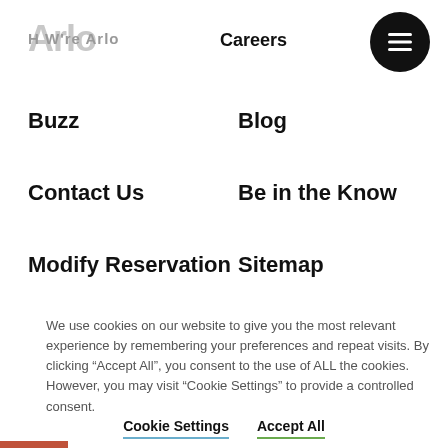Arlo
Careers
Buzz
Blog
Contact Us
Be in the Know
Modify Reservation
Sitemap
We use cookies on our website to give you the most relevant experience by remembering your preferences and repeat visits. By clicking “Accept All”, you consent to the use of ALL the cookies. However, you may visit “Cookie Settings” to provide a controlled consent.
Cookie Settings
Accept All